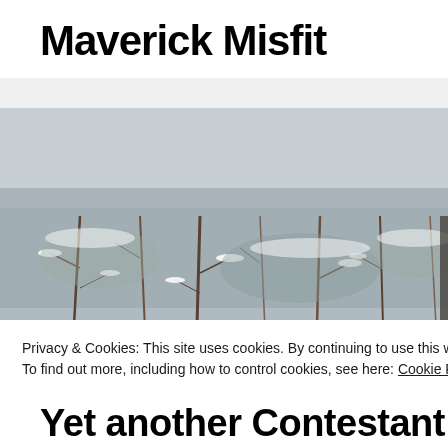Maverick Misfit
[Figure (photo): Winter outdoor scene with snow-covered bare branches and twigs against a white sky]
Privacy & Cookies: This site uses cookies. By continuing to use this website, you agree to their use.
To find out more, including how to control cookies, see here: Cookie Policy
Close and accept
Yet another Contestant #IBAw